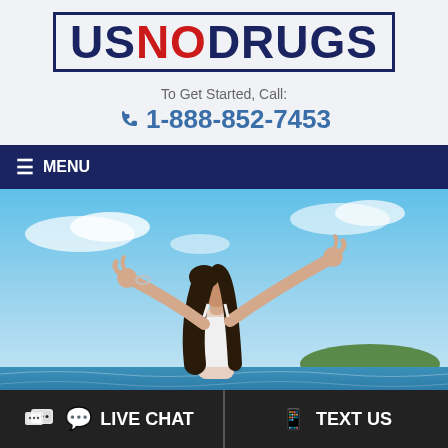[Figure (logo): USNODRUGS logo in a dark blue rectangular border, with US and DRUGS in dark navy blue and NO in red]
To Get Started, Call:
1-888-852-7453
☰ MENU
[Figure (photo): A woman with dark hair and arms outstretched against a blue sky and ocean/coastline background, suggesting freedom and wellness]
LIVE CHAT
TEXT US